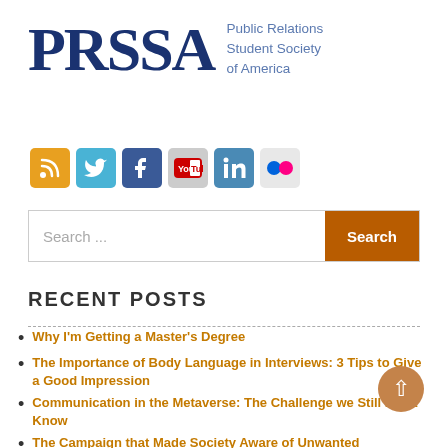[Figure (logo): PRSSA logo — bold navy blue serif letters 'PRSSA' with tagline 'Public Relations Student Society of America' in blue to the right]
[Figure (infographic): Row of six social media icon buttons: RSS (orange), Twitter (light blue), Facebook (dark blue), YouTube (gray), LinkedIn (blue), Flickr (light gray)]
Search ...
RECENT POSTS
Why I'm Getting a Master's Degree
The Importance of Body Language in Interviews: 3 Tips to Give a Good Impression
Communication in the Metaverse: The Challenge we Still Don't Know
The Campaign that Made Society Aware of Unwanted